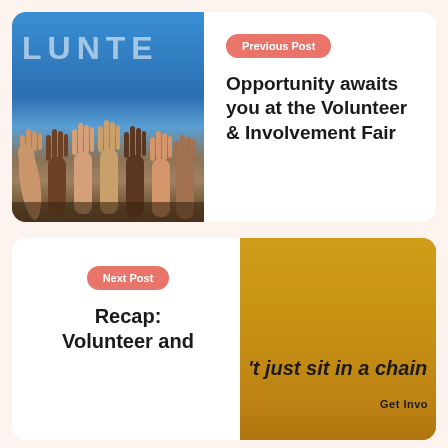[Figure (photo): Photo of many hands raised up against a blue sky with 'LUNTE' text watermark]
Previous Post
Opportunity awaits you at the Volunteer & Involvement Fair
Next Post
Recap: Volunteer and
[Figure (photo): Yellow background with text 't just sit in a chai' and 'Get Invo' partially visible]